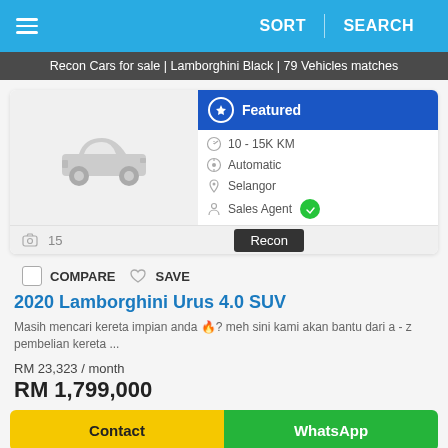SORT | SEARCH
Recon Cars for sale | Lamborghini Black | 79 Vehicles matches
Featured
10 - 15K KM
Automatic
Selangor
Sales Agent
15  Recon
COMPARE  SAVE
2020 Lamborghini Urus 4.0 SUV
Masih mencari kereta impian anda 🔥? meh sini kami akan bantu dari a - z pembelian kereta ...
RM 23,323 / month
RM 1,799,000
Contact
WhatsApp